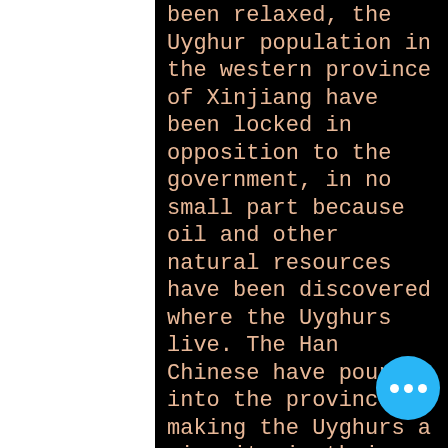been relaxed, the Uyghur population in the western province of Xinjiang have been locked in opposition to the government, in no small part because oil and other natural resources have been discovered where the Uyghurs live. The Han Chinese have poured into the province, making the Uyghurs a minority in their own land, and a separatist movement has emerged.
Such movements are not dealt with gently in communist China. Just ask the folks in Tibet.
WE'RE GOING TO DISNEY LAND ... ER CHURCH